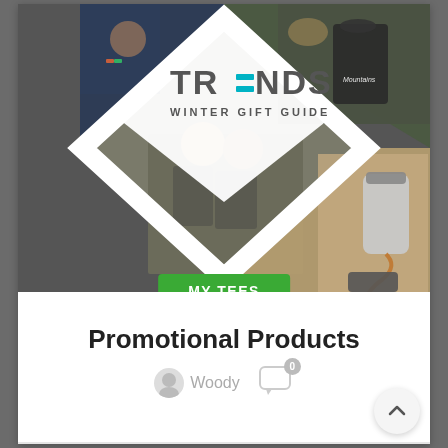[Figure (photo): Trends Winter Gift Guide promotional collage with a diamond/rhombus shape containing multiple product photos: a couple in matching grey softshell jackets, a person with a dark backpack/bag labeled Mountains, a thermos pouring liquid, and a partial winter coat with colorful logo. The word TRENDS appears in large text with two teal horizontal bars replacing the E, and WINTER GIFT GUIDE below it.]
MY TEES
Promotional Products
Woody